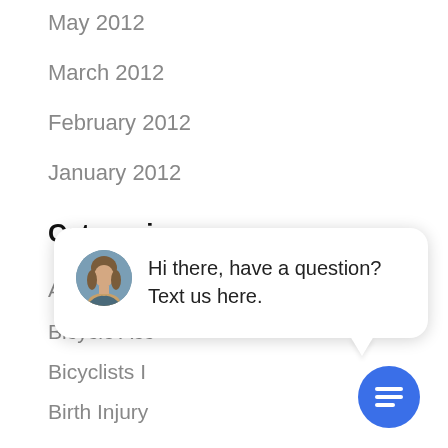May 2012
March 2012
February 2012
January 2012
Categories
Auto Accidents
Bicycle Acc
Bicyclists I
Birth Injury
blog
Boating Accidents
[Figure (screenshot): Chat widget popup with close button, avatar of a woman, and text 'Hi there, have a question? Text us here.' with a blue chat icon button below.]